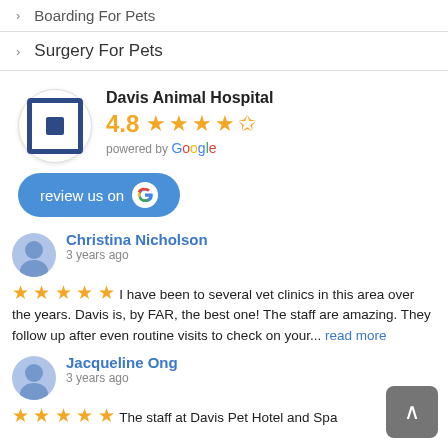> Boarding For Pets
> Surgery For Pets
Davis Animal Hospital 4.8 ★★★★½ powered by Google
[Figure (logo): Davis Animal Hospital logo square icon]
review us on Google
Christina Nicholson
3 years ago
★★★★★ I have been to several vet clinics in this area over the years. Davis is, by FAR, the best one! The staff are amazing. They follow up after even routine visits to check on your... read more
Jacqueline Ong
3 years ago
★★★★★ The staff at Davis Pet Hotel and Spa